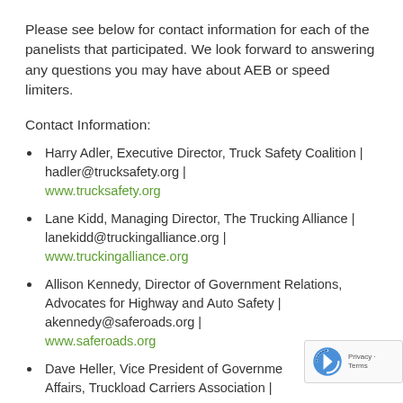Please see below for contact information for each of the panelists that participated. We look forward to answering any questions you may have about AEB or speed limiters.
Contact Information:
Harry Adler, Executive Director, Truck Safety Coalition | hadler@trucksafety.org | www.trucksafety.org
Lane Kidd, Managing Director, The Trucking Alliance | lanekidd@truckingalliance.org | www.truckingalliance.org
Allison Kennedy, Director of Government Relations, Advocates for Highway and Auto Safety | akennedy@saferoads.org | www.saferoads.org
Dave Heller, Vice President of Government Affairs, Truckload Carriers Association |